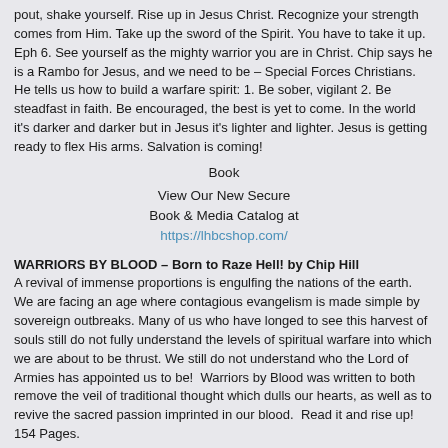pout, shake yourself. Rise up in Jesus Christ. Recognize your strength comes from Him. Take up the sword of the Spirit. You have to take it up. Eph 6. See yourself as the mighty warrior you are in Christ. Chip says he is a Rambo for Jesus, and we need to be – Special Forces Christians. He tells us how to build a warfare spirit: 1. Be sober, vigilant 2. Be steadfast in faith. Be encouraged, the best is yet to come. In the world it's darker and darker but in Jesus it's lighter and lighter. Jesus is getting ready to flex His arms. Salvation is coming!
Book
View Our New Secure Book & Media Catalog at https://lhbcshop.com/
WARRIORS BY BLOOD – Born to Raze Hell! by Chip Hill A revival of immense proportions is engulfing the nations of the earth. We are facing an age where contagious evangelism is made simple by sovereign outbreaks. Many of us who have longed to see this harvest of souls still do not fully understand the levels of spiritual warfare into which we are about to be thrust. We still do not understand who the Lord of Armies has appointed us to be!  Warriors by Blood was written to both remove the veil of traditional thought which dulls our hearts, as well as to revive the sacred passion imprinted in our blood.  Read it and rise up! 154 Pages.
New – LHBC Camp Meeting Coming – New Every day there will be personal ministry. Come & get the help you want & need!